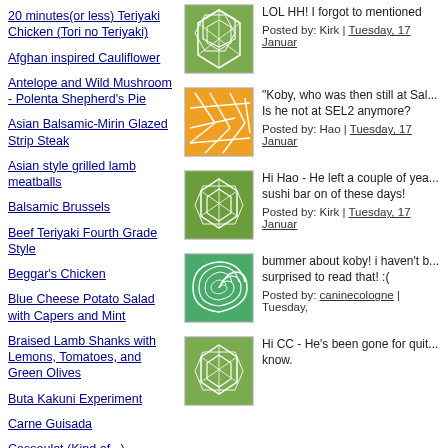20 minutes(or less) Teriyaki Chicken (Tori no Teriyaki)
Afghan inspired Cauliflower
Antelope and Wild Mushroom - Polenta Shepherd's Pie
Asian Balsamic-Mirin Glazed Strip Steak
Asian style grilled lamb meatballs
Balsamic Brussels
Beef Teriyaki Fourth Grade Style
Beggar's Chicken
Blue Cheese Potato Salad with Capers and Mint
Braised Lamb Shanks with Lemons, Tomatoes, and Green Olives
Buta Kakuni Experiment
Carne Guisada
Cassoulet (Kind of...)
Cathy makes "Ricotta"
Cathy's Beer can chicken
[Figure (illustration): Green mosaic/honeycomb pattern tile image]
LOL HH! I forgot to mentioned
Posted by: Kirk | Tuesday, 17 Januar
[Figure (illustration): Orange and white geometric/cracked pattern tile image]
"Koby, who was then still at Sal... Is he not at SEL2 anymore?
Posted by: Hao | Tuesday, 17 Januar
[Figure (illustration): Green mosaic/pentagon pattern tile image]
Hi Hao - He left a couple of yea... sushi bar on of these days!
Posted by: Kirk | Tuesday, 17 Januar
[Figure (illustration): Green spiral/swirl pattern tile image]
bummer about koby! i haven't b... surprised to read that! :(
Posted by: caninecologne | Tuesday,
[Figure (illustration): Green mosaic/pentagon pattern tile image]
Hi CC - He's been gone for quit... know.